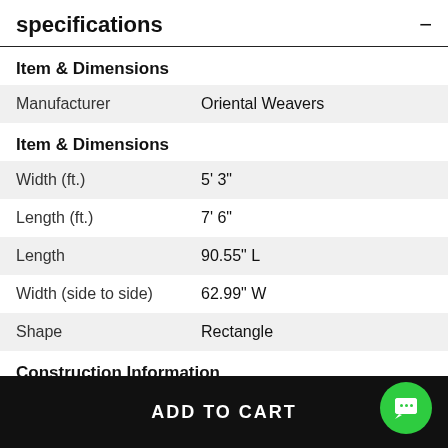specifications
Item & Dimensions
|  |  |
| --- | --- |
| Manufacturer | Oriental Weavers |
Item & Dimensions
|  |  |
| --- | --- |
| Width (ft.) | 5' 3" |
| Length (ft.) | 7' 6" |
| Length | 90.55" L |
| Width (side to side) | 62.99" W |
| Shape | Rectangle |
Construction Information
|  |  |
| --- | --- |
| Rug Material | Polypropylene |
| Construction | Machine Made |
ADD TO CART